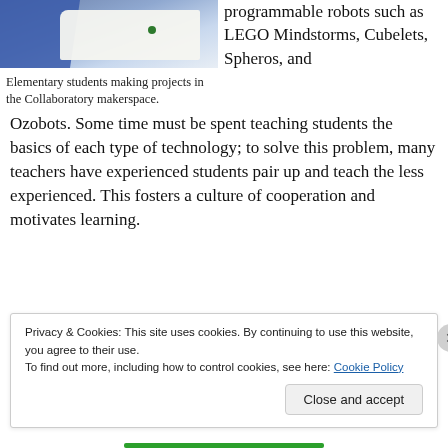[Figure (photo): Elementary students making projects in the Collaboratory makerspace — photo showing blue fabric drape and white paper on table with a green object.]
Elementary students making projects in the Collaboratory makerspace.
programmable robots such as LEGO Mindstorms, Cubelets, Spheros, and Ozobots. Some time must be spent teaching students the basics of each type of technology; to solve this problem, many teachers have experienced students pair up and teach the less experienced. This fosters a culture of cooperation and motivates learning.
Privacy & Cookies: This site uses cookies. By continuing to use this website, you agree to their use.
To find out more, including how to control cookies, see here: Cookie Policy
Close and accept